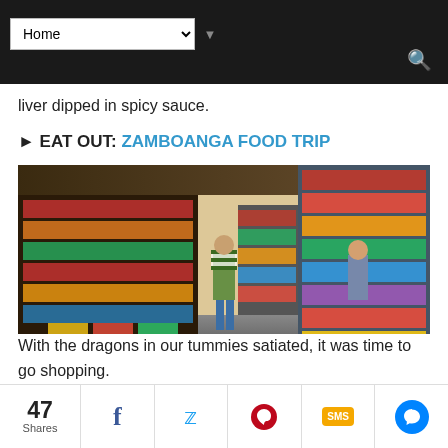Home (navigation bar with search icon)
liver dipped in spicy sauce.
► EAT OUT: ZAMBOANGA FOOD TRIP
[Figure (photo): Interior of a busy market or grocery store with shelves stocked with canned goods and packaged products; a person in a striped shirt stands in the aisle, another person is at a counter on the right side.]
With the dragons in our tummies satiated, it was time to go shopping.
47 Shares | Facebook | Twitter | Pinterest | SMS | Messenger